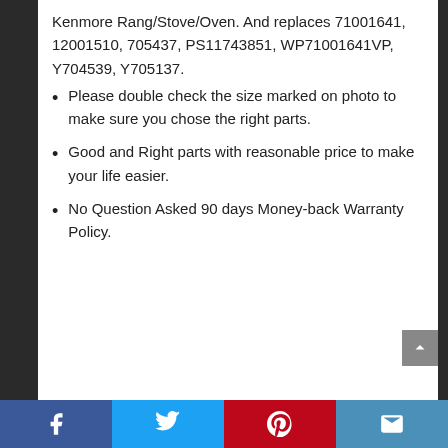Kenmore Rang/Stove/Oven. And replaces 71001641, 12001510, 705437, PS11743851, WP71001641VP, Y704539, Y705137.
Please double check the size marked on photo to make sure you chose the right parts.
Good and Right parts with reasonable price to make your life easier.
No Question Asked 90 days Money-back Warranty Policy.
Social share bar: Facebook, Twitter, Pinterest, Email